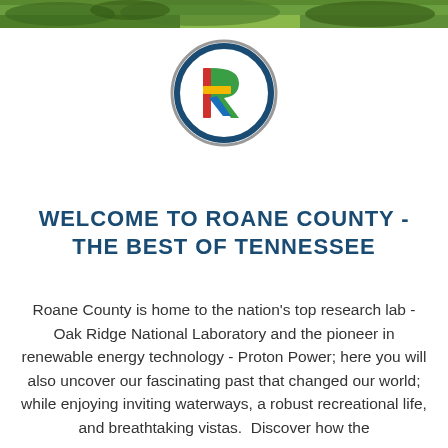[Figure (photo): Narrow horizontal strip photo banner at top of page showing outdoor greenery/landscape]
[Figure (logo): Roane County logo: circular emblem with dark blue and gray double-ring border containing a stylized 'R' in red, green, yellow, and blue colors]
WELCOME TO ROANE COUNTY - THE BEST OF TENNESSEE
Roane County is home to the nation's top research lab - Oak Ridge National Laboratory and the pioneer in renewable energy technology - Proton Power; here you will also uncover our fascinating past that changed our world; while enjoying inviting waterways, a robust recreational life, and breathtaking vistas.  Discover how the